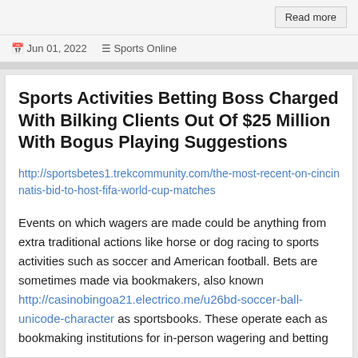Read more
Jun 01, 2022   Sports Online
Sports Activities Betting Boss Charged With Bilking Clients Out Of $25 Million With Bogus Playing Suggestions
http://sportsbetes1.trekcommunity.com/the-most-recent-on-cincinnatis-bid-to-host-fifa-world-cup-matches
Events on which wagers are made could be anything from extra traditional actions like horse or dog racing to sports activities such as soccer and American football. Bets are sometimes made via bookmakers, also known http://casinobingoa21.electrico.me/u26bd-soccer-ball-unicode-character as sportsbooks. These operate each as bookmaking institutions for in-person wagering and betting